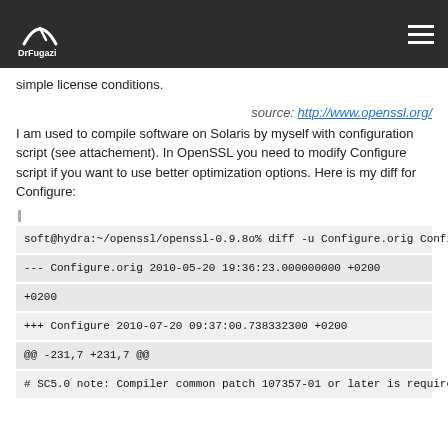DrFugazi
simple license conditions.
source: http://www.openssl.org/
I am used to compile software on Solaris by myself with configuration script (see attachement). In OpenSSL you need to modify Configure script if you want to use better optimization options. Here is my diff for Configure:
soft@hydra:~/openssl/openssl-0.9.8o% diff -u Configure.orig Configure
--- Configure.orig 2010-05-20 19:36:23.000000000 +0200
+++ Configure 2010-07-20 09:37:00.738332300 +0200
@@ -231,7 +231,7 @@
# SC5.0 note: Compiler common patch 107357-01 or later is required!